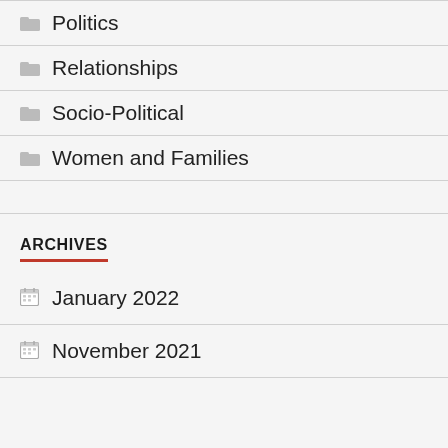Politics
Relationships
Socio-Political
Women and Families
ARCHIVES
January 2022
November 2021